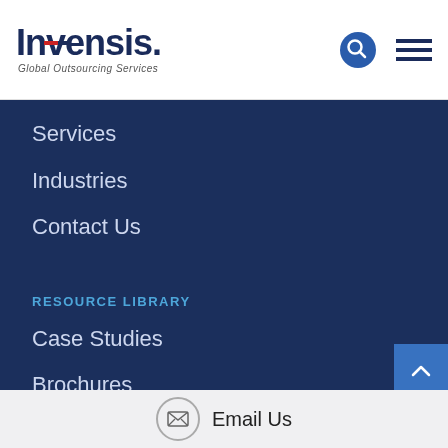Invensis. Global Outsourcing Services
Services
Industries
Contact Us
RESOURCE LIBRARY
Case Studies
Brochures
News
Blog
Resources
Email Us